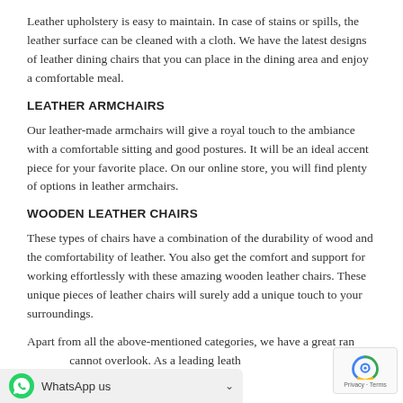Leather upholstery is easy to maintain. In case of stains or spills, the leather surface can be cleaned with a cloth. We have the latest designs of leather dining chairs that you can place in the dining area and enjoy a comfortable meal.
LEATHER ARMCHAIRS
Our leather-made armchairs will give a royal touch to the ambiance with a comfortable sitting and good postures. It will be an ideal accent piece for your favorite place. On our online store, you will find plenty of options in leather armchairs.
WOODEN LEATHER CHAIRS
These types of chairs have a combination of the durability of wood and the comfortability of leather. You also get the comfort and support for working effortlessly with these amazing wooden leather chairs. These unique pieces of leather chairs will surely add a unique touch to your surroundings.
Apart from all the above-mentioned categories, we have a great range that you cannot overlook. As a leading leath...